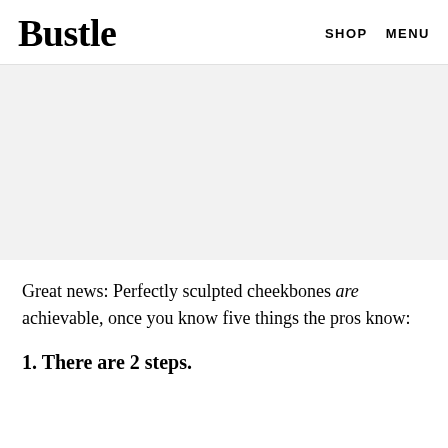Bustle   SHOP   MENU
[Figure (other): Gray placeholder image area]
Great news: Perfectly sculpted cheekbones are achievable, once you know five things the pros know:
1. There are 2 steps.